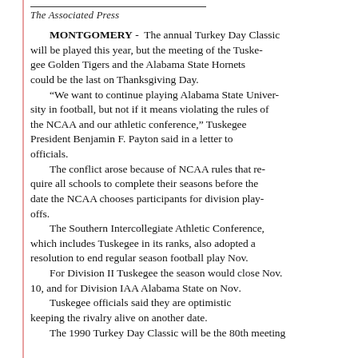The Associated Press
MONTGOMERY - The annual Turkey Day Classic will be played this year, but the meeting of the Tuskegee Golden Tigers and the Alabama State Hornets could be the last on Thanksgiving Day. "We want to continue playing Alabama State University in football, but not if it means violating the rules of the NCAA and our athletic conference," Tuskegee President Benjamin F. Payton said in a letter to officials. The conflict arose because of NCAA rules that require all schools to complete their seasons before the date the NCAA chooses participants for division playoffs. The Southern Intercollegiate Athletic Conference, which includes Tuskegee in its ranks, also adopted a resolution to end regular season football play Nov. For Division II Tuskegee the season would close Nov. 10, and for Division IAA Alabama State on Nov. Tuskegee officials said they are optimistic about keeping the rivalry alive on another date. The 1990 Turkey Day Classic will be the 80th meeting...